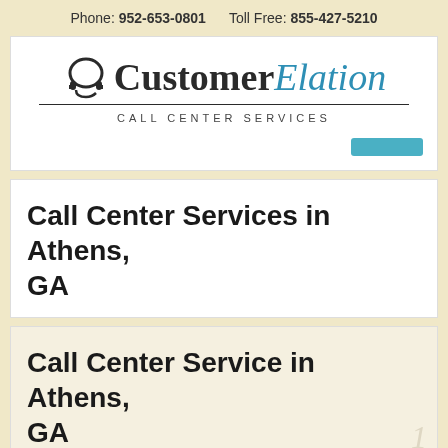Phone: 952-653-0801    Toll Free: 855-427-5210
[Figure (logo): CustomerElation Call Center Services logo with headphone icon]
Call Center Services in Athens, GA
Call Center Service in Athens, GA